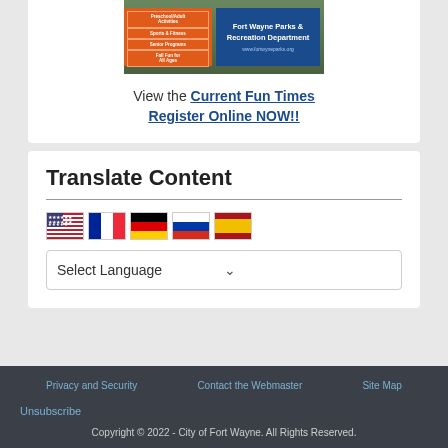[Figure (illustration): Fort Wayne Parks & Recreation Department promotional banner with orange menu items on left (Sports & Fitness, Senior Programs, Fall Fun for All Ages) and blue panel on right with department name and website www.fortwyneparks.org]
View the Current Fun Times
Register Online NOW!!
Translate Content
[Figure (illustration): Row of five country flag icons: USA, France, Germany, Russia, Spain]
Select Language
Privacy and Security   Contact the Webmaster   Site Map
Unsubscribe
Copyright © 2022 - City of Fort Wayne. All Rights Reserved.